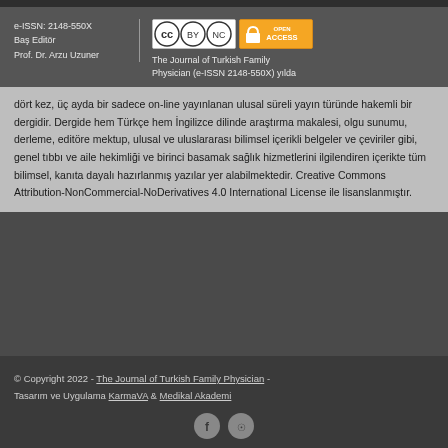e-ISSN: 2148-550X
Baş Editör
Prof. Dr. Arzu Uzuner
[Figure (logo): Creative Commons BY-NC license badge and Open Access badge]
The Journal of Turkish Family Physician (e-ISSN 2148-550X) yılda dört kez, üç ayda bir sadece on-line yayınlanan ulusal süreli yayın türünde hakemli bir dergidir. Dergide hem Türkçe hem İngilizce dilinde araştırma makalesi, olgu sunumu, derleme, editöre mektup, ulusal ve uluslararası bilimsel içerikli belgeler ve çeviriler gibi, genel tıbbı ve aile hekimliği ve birinci basamak sağlık hizmetlerini ilgilendiren içerikte tüm bilimsel, kanıta dayalı hazırlanmış yazılar yer alabilmektedir. Creative Commons Attribution-NonCommercial-NoDerivatives 4.0 International License ile lisanslanmıştır.
© Copyright 2022 - The Journal of Turkish Family Physician - Tasarım ve Uygulama KarmaVA & Medikal Akademi